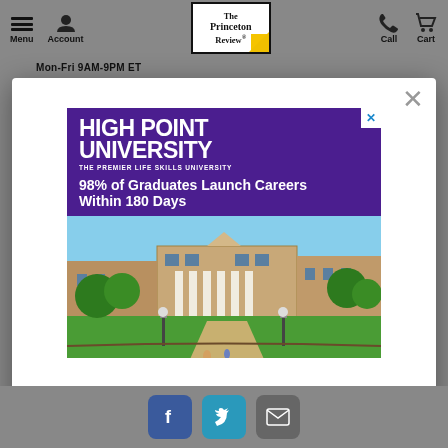Menu  Account  The Princeton Review  Call  Cart
Mon-Fri 9AM-9PM ET
[Figure (screenshot): Modal popup overlay on The Princeton Review website showing an advertisement for High Point University. Purple banner with text 'HIGH POINT UNIVERSITY - THE PREMIER LIFE SKILLS UNIVERSITY' and tagline '98% of Graduates Launch Careers Within 180 Days', with campus photo below.]
[Figure (photo): High Point University campus photograph showing brick buildings, white-columned entrance, green trees and landscaped grounds with students walking.]